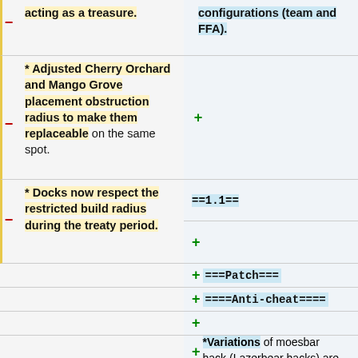acting as a treasure.
configurations (team and FFA).
* Adjusted Cherry Orchard and Mango Grove placement obstruction radius to make them replaceable on the same spot.
+
* Docks now respect the restricted build radius during the treaty period.
==1.1==
+
===Patch===
====Anti-cheat====
+
*Variations of moesbar hack (Lazerbear hacks) are now detected better